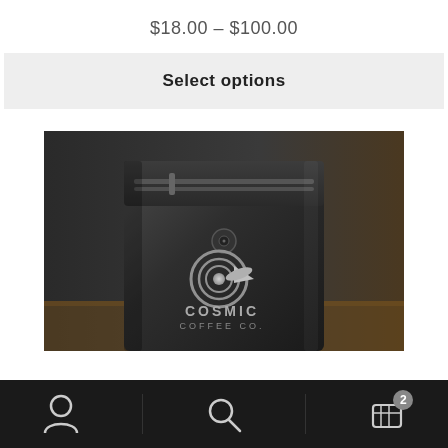$18.00 – $100.00
Select options
[Figure (photo): Black coffee bag with Cosmic Coffee Co. logo (concentric circles with rocket), zipper top closure, degassing valve, on a wooden surface with dark background]
Navigation bar with user icon, search icon, and cart icon showing badge 2